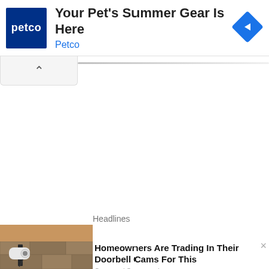[Figure (screenshot): Petco advertisement banner with dark blue Petco logo square on left, ad headline 'Your Pet's Summer Gear Is Here' and brand name 'Petco' in blue text, and a blue diamond navigation arrow icon on right]
[Figure (screenshot): Browser UI element: a collapse/minimize tab with upward caret arrow, and a horizontal gray gradient bar extending to the right]
Headlines
[Figure (photo): Photo of outdoor security camera or doorbell camera mounted on stone/brick wall, showing a white cylindrical camera device on a bracket]
Homeowners Are Trading In Their Doorbell Cams For This
Camerca | Sponsored